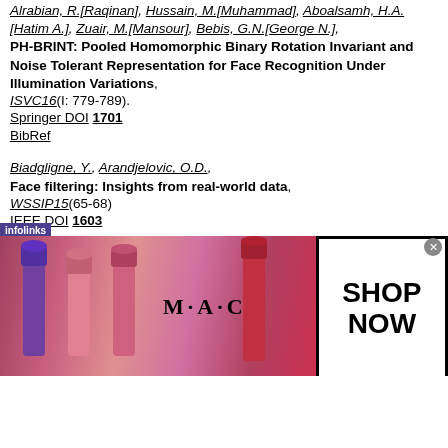Alrabian, R.[Raqinan], Hussain, M.[Muhammad], Aboalsamh, H.A.[Hatim A.], Zuair, M.[Mansour], Bebis, G.N.[George N.], PH-BRINT: Pooled Homomorphic Binary Rotation Invariant and Noise Tolerant Representation for Face Recognition Under Illumination Variations, ISVC16(I: 779-789). Springer DOI 1701 BibRef
Biadgligne, Y., Arandjelovic, O.D., Face filtering: Insights from real-world data, WSSIP15(65-68) IEEE DOI 1603 cameras BibRef
Conde, M.H., Shahlaei, D., Blanz, V., Loffeld, O., Efficient and Robust Inverse Lighting of a Single Face Image Using Compressive Sensing,
[Figure (photo): Advertisement banner showing MAC lipsticks on left side and SHOP NOW box on right, with infolinks branding and close button]